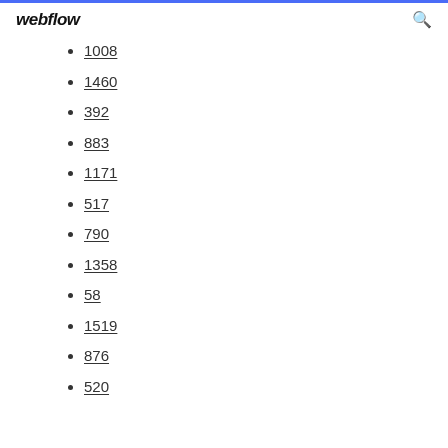webflow
1008
1460
392
883
1171
517
790
1358
58
1519
876
520